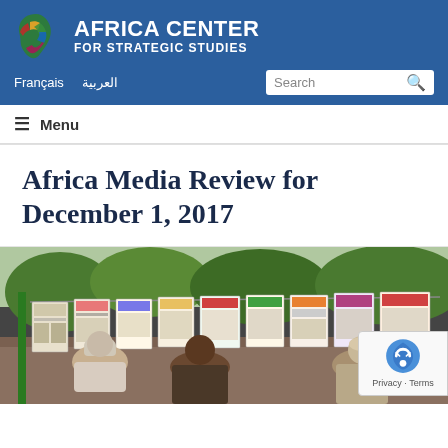AFRICA CENTER FOR STRATEGIC STUDIES
Français  العربية
Menu
Africa Media Review for December 1, 2017
[Figure (photo): People looking at newspapers hung on a clothesline at an outdoor newsstand in Africa]